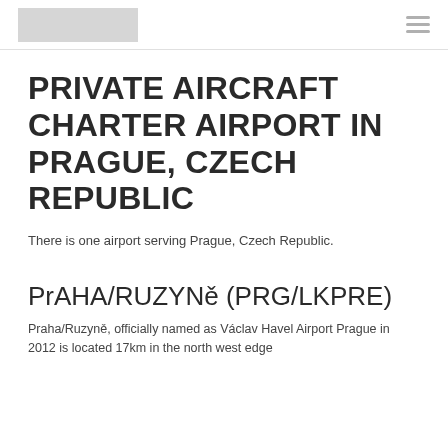[Logo] [Navigation menu icon]
PRIVATE AIRCRAFT CHARTER AIRPORT IN PRAGUE, CZECH REPUBLIC
There is one airport serving Prague, Czech Republic.
PrAHA/RUZYNě (PRG/LKPRE)
Praha/Ruzyně, officially named as Václav Havel Airport Prague in 2012 is located 17km in the north west edge